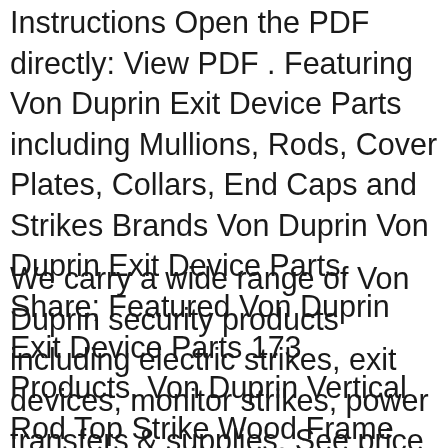Instructions Open the PDF directly: View PDF . Featuring Von Duprin Exit Device Parts including Mullions, Rods, Cover Plates, Collars, End Caps and Strikes Brands Von Duprin Von Duprin Exit Device Parts. Share; Featured Von Duprin Exit Device Parts 173 Products. Von Duprin Vertical Rod Top Strike Wood Frame Installation for 3347A / 3547A / 98 / 9947 Series Exit Device. Model: 283
We carry a wide range of Von Duprin security products including electric strikes, exit devices, monitor strikes, power transfers & supplies. See price books. 98/9947 Parts Manual: 98/9975 Mortise Lock Exit Device: Von Duprin 33/3547A Installation Instructions: Price